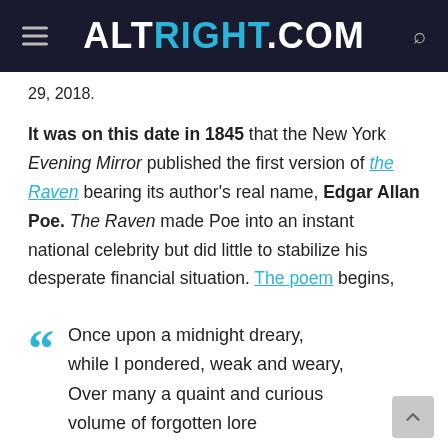ALTRIGHT.COM
29, 2018.
It was on this date in 1845 that the New York Evening Mirror published the first version of the Raven bearing its author's real name, Edgar Allan Poe. The Raven made Poe into an instant national celebrity but did little to stabilize his desperate financial situation. The poem begins,
Once upon a midnight dreary, while I pondered, weak and weary, Over many a quaint and curious volume of forgotten lore